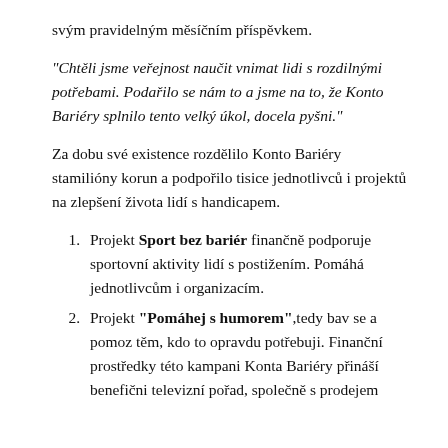svým pravidelným měsíčním příspěvkem.
"Chtěli jsme veřejnost naučit vnimat lidi s rozdilnými potřebami. Podařilo se nám to a jsme na to, že Konto Bariéry splnilo tento velký úkol, docela pyšni."
Za dobu své existence rozdělilo Konto Bariéry stamilióny korun a podpořilo tisice jednotlivců i projektů na zlepšení života lidí s handicapem.
Projekt Sport bez bariér finančně podporuje sportovní aktivity lidí s postižením. Pomáhá jednotlivcům i organizacím.
Projekt "Pomáhej s humorem",tedy bav se a pomoz těm, kdo to opravdu potřebuji. Finanční prostředky této kampani Konta Bariéry přináší benefični televizní pořad, společně s prodejem